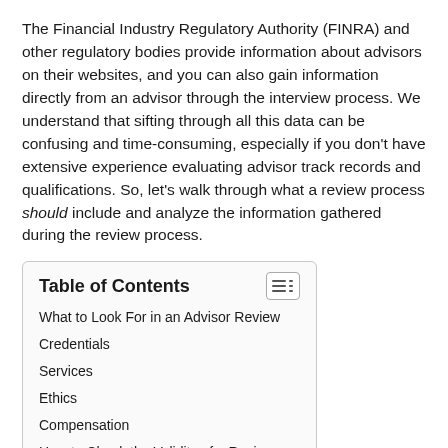The Financial Industry Regulatory Authority (FINRA) and other regulatory bodies provide information about advisors on their websites, and you can also gain information directly from an advisor through the interview process. We understand that sifting through all this data can be confusing and time-consuming, especially if you don't have extensive experience evaluating advisor track records and qualifications. So, let's walk through what a review process should include and analyze the information gathered during the review process.
| Table of Contents |
| --- |
| What to Look For in an Advisor Review |
| Credentials |
| Services |
| Ethics |
| Compensation |
| How to Check the Validity of a Review |
| Paladin's Rating System |
| When to be Extra Cautious |